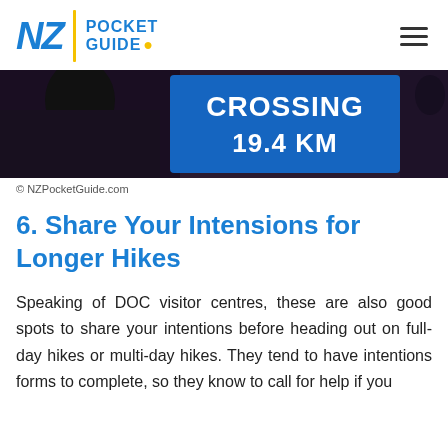NZ POCKET GUIDE
[Figure (photo): Blue sign showing CROSSING 19.4 KM with people in dark clothing visible in background]
© NZPocketGuide.com
6. Share Your Intensions for Longer Hikes
Speaking of DOC visitor centres, these are also good spots to share your intentions before heading out on full-day hikes or multi-day hikes. They tend to have intentions forms to complete, so they know to call for help if you